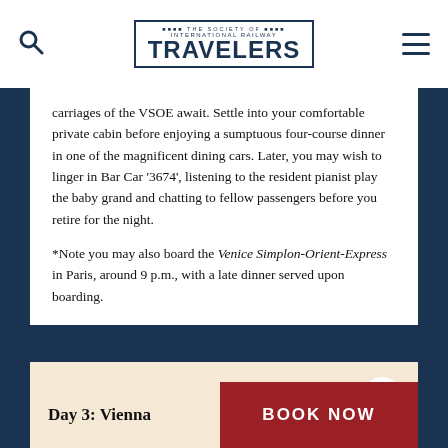The Society of International Railway Travelers
carriages of the VSOE await. Settle into your comfortable private cabin before enjoying a sumptuous four-course dinner in one of the magnificent dining cars. Later, you may wish to linger in Bar Car '3674', listening to the resident pianist play the baby grand and chatting to fellow passengers before you retire for the night.
*Note you may also board the Venice Simplon-Orient-Express in Paris, around 9 p.m., with a late dinner served upon boarding.
Day 2: Vienna
Day 3: Vienna